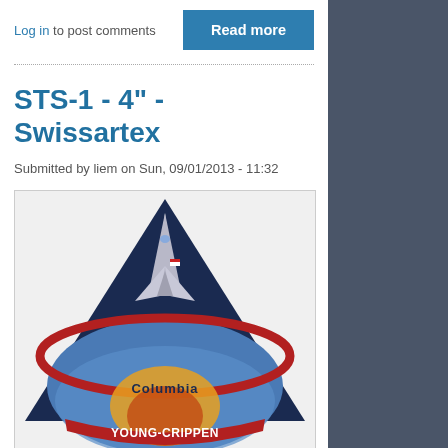Log in to post comments
Read more
STS-1 - 4" - Swissartex
Submitted by liem on Sun, 09/01/2013 - 11:32
[Figure (photo): STS-1 mission patch showing the Space Shuttle Columbia launching upward against a dark triangular background with blue Earth below and a red orbital ring. Text reads 'Columbia' and 'YOUNG-CRIPPEN' at the bottom.]